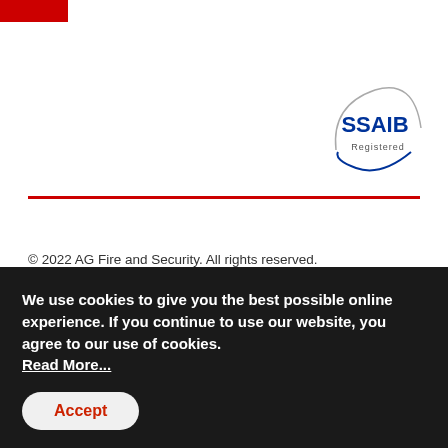[Figure (logo): Red rectangular logo block in top left corner]
[Figure (logo): SSAIB Registered circular badge with blue text and arc]
© 2022 AG Fire and Security. All rights reserved.
We use cookies to give you the best possible online experience. If you continue to use our website, you agree to our use of cookies. Read More...
Accept